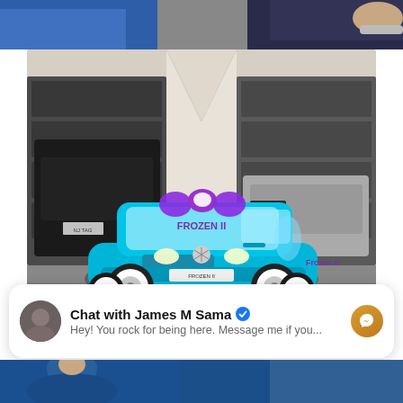[Figure (photo): Partial cropped photo at top showing people in blue clothing]
[Figure (photo): A Frozen II themed ride-on children's Mercedes toy car in bright blue color, parked in front of a two-car garage. Two real cars visible in garage bays - a dark SUV on the left and a silver/white sports car on the right.]
Chat with James M Sama ✓
Hey! You rock for being here. Message me if you...
[Figure (photo): Partial photo at bottom showing a person in blue hoodie]